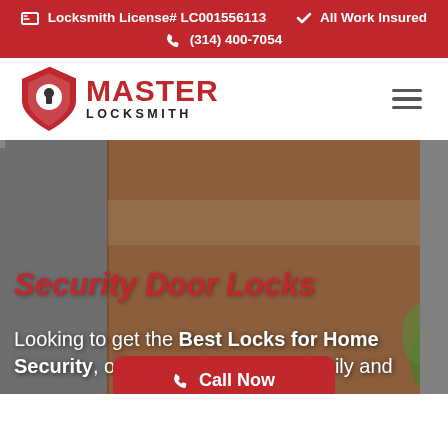Locksmith License# LC001556113  ✓ All Work Insured  (314) 400-7054
[Figure (logo): Master Locksmith logo with red shield containing a keyhole icon, and bold red text MASTER with LOCKSMITH below]
[Figure (photo): Photo of a modern wood door with a slim rectangular electronic/smart lock panel mounted on it, with greenery visible on the right side]
Security Door Locks
Looking to get the Best Locks for Home Security, offering safety to your family and
Call Now (314) 400-7054